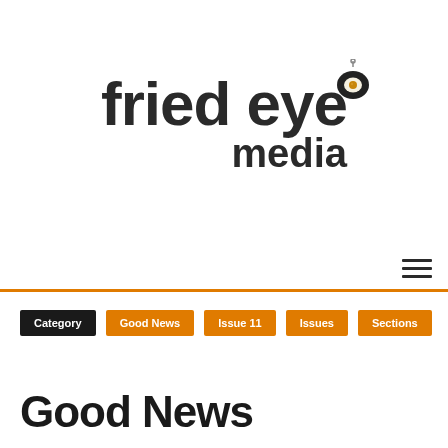[Figure (logo): Fried Eye Media logo with frying pan icon containing a fried egg, large bold text 'fried eye' and smaller bold 'media' below-right]
hamburger menu icon (three horizontal lines)
Category | Good News | Issue 11 | Issues | Sections
Good News